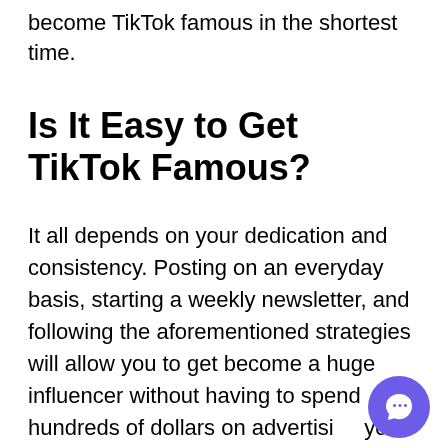become TikTok famous in the shortest time.
Is It Easy to Get TikTok Famous?
It all depends on your dedication and consistency. Posting on an everyday basis, starting a weekly newsletter, and following the aforementioned strategies will allow you to get become a huge influencer without having to spend hundreds of dollars on advertising your content.